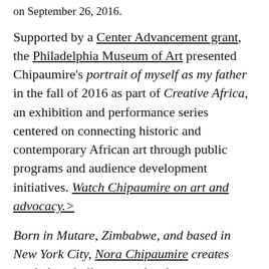on September 26, 2016.
Supported by a Center Advancement grant, the Philadelphia Museum of Art presented Chipaumire's portrait of myself as my father in the fall of 2016 as part of Creative Africa, an exhibition and performance series centered on connecting historic and contemporary African art through public programs and audience development initiatives. Watch Chipaumire on art and advocacy.>
Born in Mutare, Zimbabwe, and based in New York City, Nora Chipaumire creates work that challenges and embraces stereotypes of Africa and the black performing body. She is a graduate of the University of Zimbabwe's School of Law and holds a MA in dance and MFA in choreography and performance